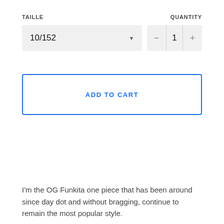TAILLE
QUANTITY
10/152
— 1 +
ADD TO CART
I'm the OG Funkita one piece that has been around since day dot and without bragging, continue to remain the most popular style.